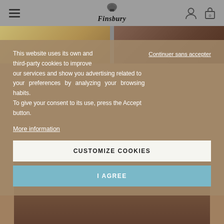Finsbury
[Figure (photo): Finsbury shoes website screenshot showing shoe product photos in background with cookie consent overlay]
This website uses its own and third-party cookies to improve our services and show you advertising related to your preferences by analyzing your browsing habits. To give your consent to its use, press the Accept button.
Continuer sans accepter
More information
CUSTOMIZE COOKIES
I AGREE